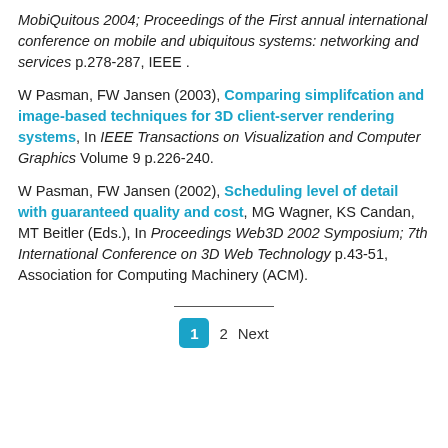MobiQuitous 2004; Proceedings of the First annual international conference on mobile and ubiquitous systems: networking and services p.278-287, IEEE .
W Pasman, FW Jansen (2003), Comparing simplifcation and image-based techniques for 3D client-server rendering systems, In IEEE Transactions on Visualization and Computer Graphics Volume 9 p.226-240.
W Pasman, FW Jansen (2002), Scheduling level of detail with guaranteed quality and cost, MG Wagner, KS Candan, MT Beitler (Eds.), In Proceedings Web3D 2002 Symposium; 7th International Conference on 3D Web Technology p.43-51, Association for Computing Machinery (ACM).
1  2  Next